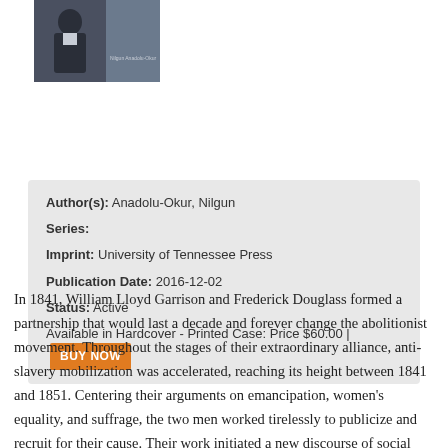[Figure (photo): Book cover image showing a portrait figure, dark background with small text, published by University of Tennessee Press]
Author(s): Anadolu-Okur, Nilgun
Series:
Imprint: University of Tennessee Press
Publication Date: 2016-12-02
Status: Active
Available in Hardcover - Printed Case: Price $60.00 | BUY NOW
In 1841, William Lloyd Garrison and Frederick Douglass formed a partnership that would last a decade and forever change the abolitionist movement. Throughout the stages of their extraordinary alliance, anti-slavery mobilization was accelerated, reaching its height between 1841 and 1851. Centering their arguments on emancipation, women's equality, and suffrage, the two men worked tirelessly to publicize and recruit for their cause. Their work initiated a new discourse of social reform and critique, positioning the abolition of slavery at the center of progressive social concerns throughout the first half of the nineteenth century.